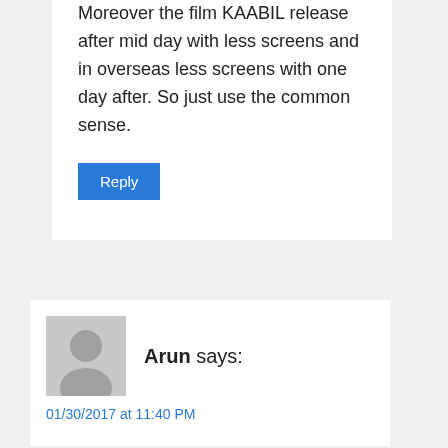Moreover the film KAABIL release after mid day with less screens and in overseas less screens with one day after. So just use the common sense.
Reply
Arun says:
01/30/2017 at 11:40 PM